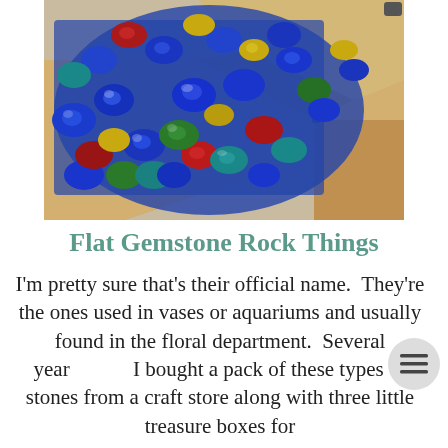[Figure (photo): A wooden box open at the top, filled with colorful flat gemstone rocks (blue, red, green, teal, yellow, maroon) viewed from above at an angle. Another closed wooden box is visible in the lower right.]
Flat Gemstone Rock Things
I'm pretty sure that's their official name.  They're the ones used in vases or aquariums and usually found in the floral department.  Several years I bought a pack of these types of stones from a craft store along with three little treasure boxes for something them as a as a Christmas gifts. H...